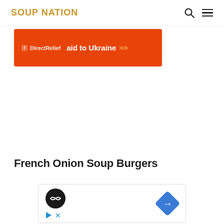SOUP NATION
[Figure (other): Orange Direct Relief donation banner with text 'aid to Ukraine >>']
French Onion Soup Burgers
[Figure (other): Advertisement widget with circular logo, play and X icons on left, and blue diamond navigation icon on right]